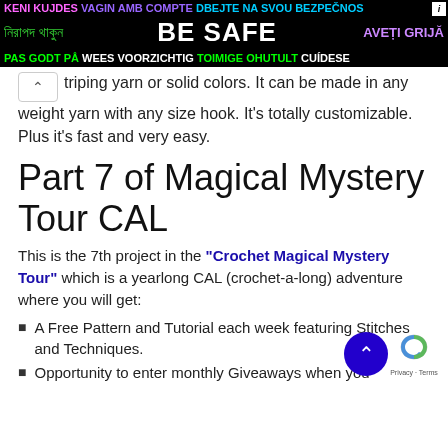[Figure (other): Multilingual 'BE SAFE' advertisement banner with text in multiple languages on black background]
triping yarn or solid colors. It can be made in any weight yarn with any size hook. It's totally customizable. Plus it's fast and very easy.
Part 7 of Magical Mystery Tour CAL
This is the 7th project in the "Crochet Magical Mystery Tour" which is a yearlong CAL (crochet-a-long) adventure where you will get:
A Free Pattern and Tutorial each week featuring Stitches and Techniques.
Opportunity to enter monthly Giveaways when you